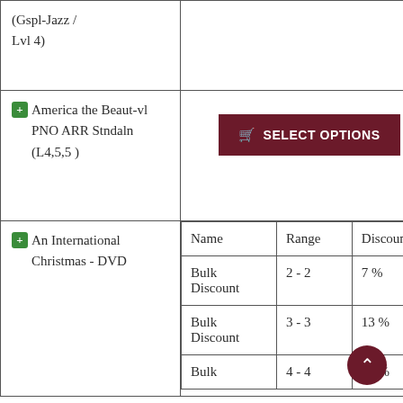(Gspl-Jazz / Lvl 4)
America the Beaut-vl PNO ARR Stndaln (L4,5,5 )
SELECT OPTIONS
| Name | Range | Discount |
| --- | --- | --- |
| Bulk Discount | 2 - 2 | 7 % |
| Bulk Discount | 3 - 3 | 13 % |
| Bulk | 4 - 4 | 20 % |
An International Christmas - DVD